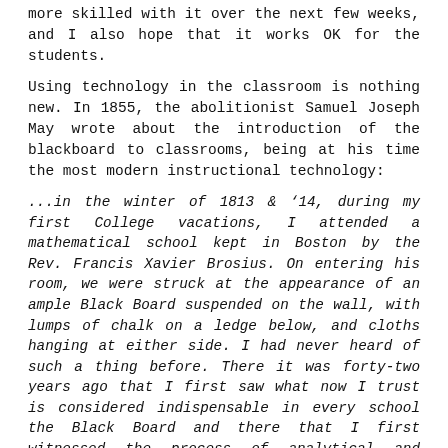more skilled with it over the next few weeks, and I also hope that it works OK for the students.
Using technology in the classroom is nothing new. In 1855, the abolitionist Samuel Joseph May wrote about the introduction of the blackboard to classrooms, being at his time the most modern instructional technology:
...in the winter of 1813 & ‘14, during my first College vacations, I attended a mathematical school kept in Boston by the Rev. Francis Xavier Brosius. On entering his room, we were struck at the appearance of an ample Black Board suspended on the wall, with lumps of chalk on a ledge below, and cloths hanging at either side. I had never heard of such a thing before. There it was forty-two years ago that I first saw what now I trust is considered indispensable in every school the Black Board and there that I first witnessed the process of analytical and inductive teaching.
Today, Mark Anderson (@ICTEvangelist), writing in Education Evangelist graphically shows a Growth Mindset for Teachers when using Technology: